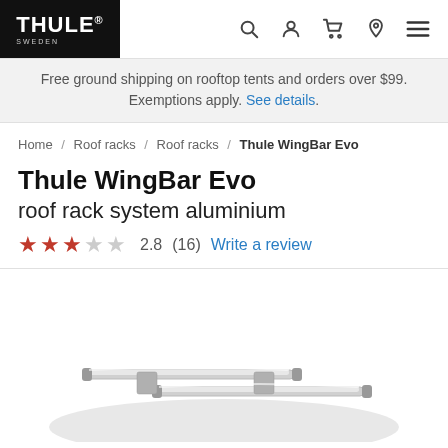THULE SWEDEN
Free ground shipping on rooftop tents and orders over $99. Exemptions apply. See details.
Home / Roof racks / Roof racks / Thule WingBar Evo
Thule WingBar Evo
roof rack system aluminium
2.8 (16) Write a review
[Figure (photo): Thule WingBar Evo aluminium roof rack bars mounted on top of a silver/white car, viewed from above at an angle.]